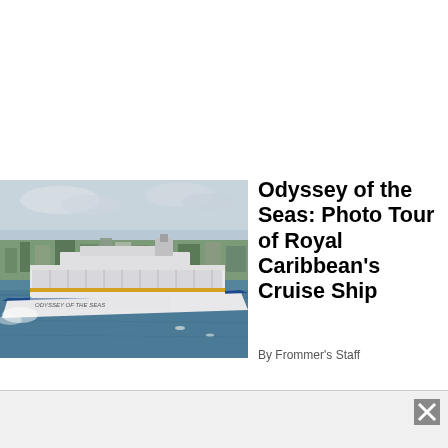[Figure (photo): Aerial photograph of the Odyssey of the Seas cruise ship sailing in blue-green water near a coastal city with green trees and buildings in the background under a cloudy sky.]
Odyssey of the Seas: Photo Tour of Royal Caribbean's Cruise Ship
By Frommer's Staff
[Figure (other): Advertisement bar with close/dismiss button (X icon) at bottom of page.]